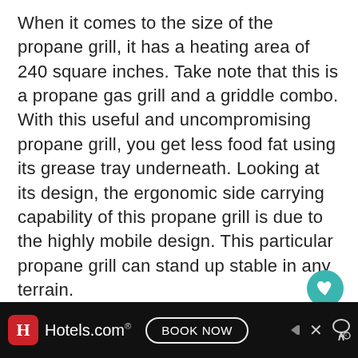When it comes to the size of the propane grill, it has a heating area of 240 square inches. Take note that this is a propane gas grill and a griddle combo. With this useful and uncompromising propane grill, you get less food fat using its grease tray underneath. Looking at its design, the ergonomic side carrying capability of this propane grill is due to the highly mobile design. This particular propane grill can stand up stable in any terrain.
On the portability and the storage capability of the propane grill, one leg is telescoping and two-pronged and the two
[Figure (other): Teal circular heart/favorite button and share button with count 1]
[Figure (other): Hotels.com advertisement banner with Book Now button and close/arrow icons]